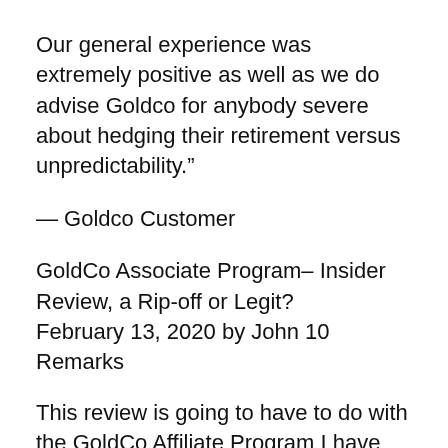Our general experience was extremely positive as well as we do advise Goldco for anybody severe about hedging their retirement versus unpredictability.”
— Goldco Customer
GoldCo Associate Program– Insider Review, a Rip-off or Legit?
February 13, 2020 by John 10 Remarks
This review is going to have to do with the GoldCo Affiliate Program I have actually been been a member of it for 6months but really began to utilize it recently a few days ago again. I have to state I am very pleased that I have, due to the fact that it looks extremely